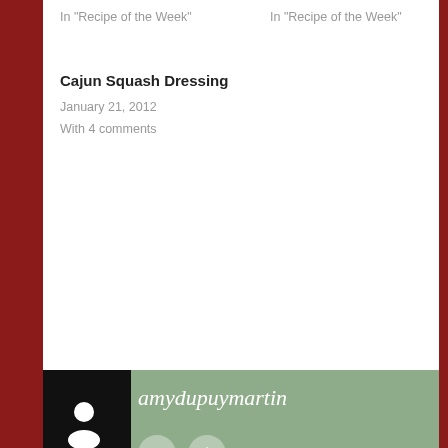In "Recipe of the Week"
In "Recipe of the Week"
Cajun Squash Dressing
January 21, 2012
With 4 comments
amydupuymartin
May 7, 2012
Recipe of the Week
puff pastry, sandwich